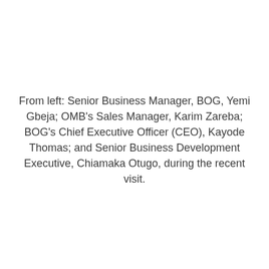From left: Senior Business Manager, BOG, Yemi Gbeja; OMB's Sales Manager, Karim Zareba; BOG's Chief Executive Officer (CEO), Kayode Thomas; and Senior Business Development Executive, Chiamaka Otugo, during the recent visit.